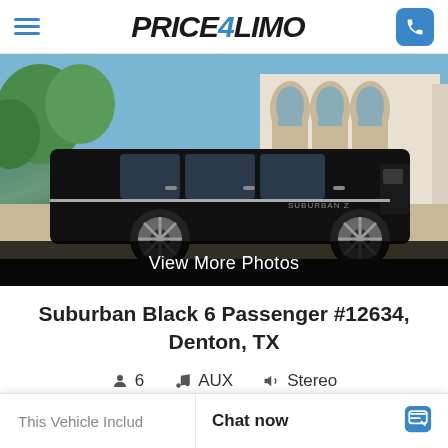PRICE4LIMO
[Figure (photo): Black Chevrolet Suburban SUV parked in front of a luxury home with arched windows and tropical landscaping]
View More Photos
Suburban Black 6 Passenger #12634, Denton, TX
6  AUX  Stereo
This Vehicle Includ  Chat now